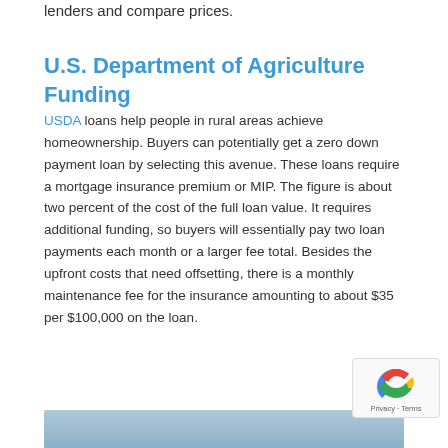lenders and compare prices.
U.S. Department of Agriculture Funding
USDA loans help people in rural areas achieve homeownership. Buyers can potentially get a zero down payment loan by selecting this avenue. These loans require a mortgage insurance premium or MIP. The figure is about two percent of the cost of the full loan value. It requires additional funding, so buyers will essentially pay two loan payments each month or a larger fee total. Besides the upfront costs that need offsetting, there is a monthly maintenance fee for the insurance amounting to about $35 per $100,000 on the loan.
[Figure (photo): Photo strip at bottom of page showing partial image of people or documents related to home loans]